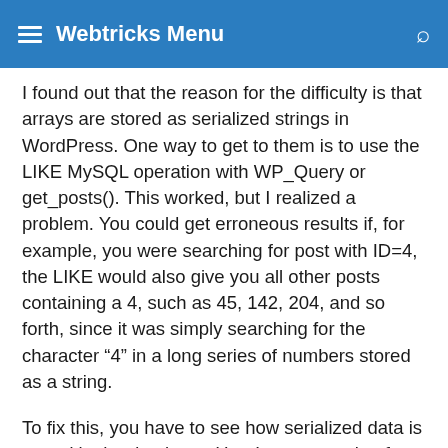Webtricks Menu
I found out that the reason for the difficulty is that arrays are stored as serialized strings in WordPress. One way to get to them is to use the LIKE MySQL operation with WP_Query or get_posts(). This worked, but I realized a problem. You could get erroneous results if, for example, you were searching for post with ID=4, the LIKE would also give you all other posts containing a 4, such as 45, 142, 204, and so forth, since it was simply searching for the character “4” in a long series of numbers stored as a string.
To fix this, you have to see how serialized data is stored in the database. Here’s an example of serialized data.